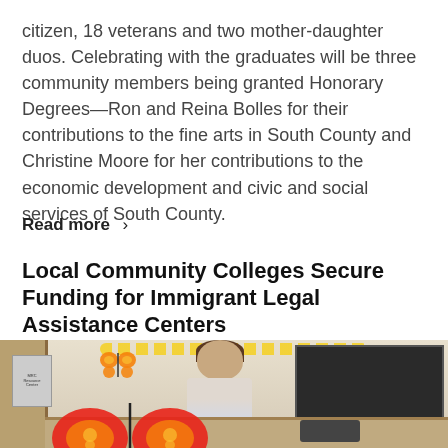citizen, 18 veterans and two mother-daughter duos. Celebrating with the graduates will be three community members being granted Honorary Degrees—Ron and Reina Bolles for their contributions to the fine arts in South County and Christine Moore for her contributions to the economic development and civic and social services of South County.
Read more >
Local Community Colleges Secure Funding for Immigrant Legal Assistance Centers
[Figure (photo): A woman sitting at a reception desk in an office or community center. Behind her is a large bulletin board with papers and decorations pinned to it. Yellow garland decorates the area above. A colorful butterfly decoration is visible in the foreground at the bottom of the image.]